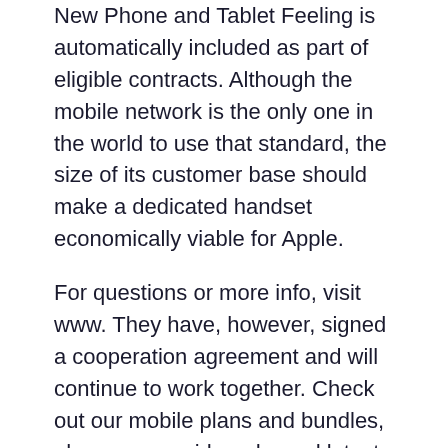New Phone and Tablet Feeling is automatically included as part of eligible contracts. Although the mobile network is the only one in the world to use that standard, the size of its customer base should make a dedicated handset economically viable for Apple.
For questions or more info, visit www. They have, however, signed a cooperation agreement and will continue to work together. Check out our mobile plans and bundles, phones, prepaid cards, and latest promotions and deals.
[Figure (other): Broken image placeholder with label 'Business Plans & Rates']
The app offers the ability to set call divert settings and so forth, but unfortunately not having a dual-SIM phone we can not detail it completely. With LTE on iPad, you can download content, stream video, and browse the web at amazing speeds. Each of us have different needs, so we